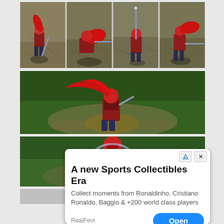[Figure (screenshot): Four game screenshots arranged in a 2x2 grid showing a red-clothed character with a sword in various poses on a stone/dirt terrain background]
[Figure (screenshot): Wide game screenshot showing the same red-clothed character with a flowing red cape performing an attack animation on a green grass terrain]
[Figure (screenshot): Partial game screenshot showing a red-helmet character with a circular shield/spin attack on green grass terrain, partially obscured by an advertisement overlay]
[Figure (screenshot): Partial bottom strip of another game screenshot visible below the ad]
A new Sports Collectibles Era
Collect moments from Ronaldinho, Cristiano Ronaldo, Baggio & +200 world class players
RealFevr
Open